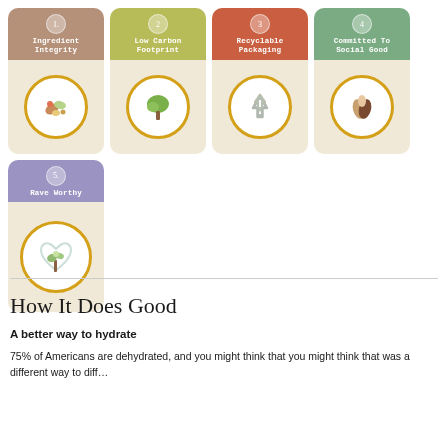[Figure (infographic): Five sustainability/quality cards arranged in a grid: 1. Ingredient Integrity (brown), 2. Low Carbon Footprint (olive green), 3. Recyclable Packaging (terracotta), 4. Committed To Social Good (sage green), 5. Rave Worthy (purple). Each card has a colored top section with a number badge and title, and a beige bottom with a gold-rimmed icon circle.]
How It Does Good
A better way to hydrate
75% of Americans are dehydrated, and you might think that you might think that was a different way to diff…